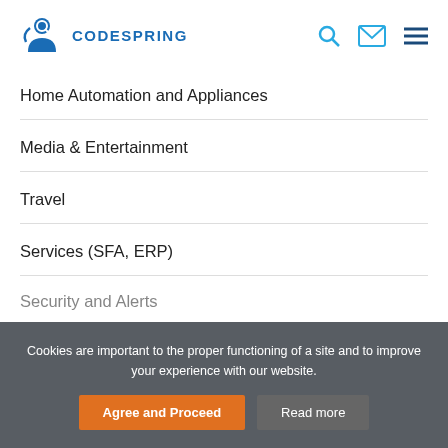[Figure (logo): Codespring logo: stylized blue figure/person icon with 'CODESPRING' text]
Home Automation and Appliances
Media & Entertainment
Travel
Services (SFA, ERP)
Security and Alerts
Cookies are important to the proper functioning of a site and to improve your experience with our website.
Agree and Proceed
Read more